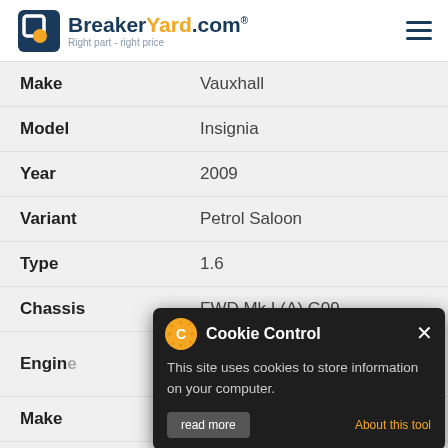BreakerYard.com — Right part - right price
| Make | Vauxhall |
| Model | Insignia |
| Year | 2009 |
| Variant | Petrol Saloon |
| Type | 1.6 |
| Chassis | FWD Mk I (A) G09 |
| Engine | 1598cc 85KW 115HP A 16 XER |
| Make | Vauxhall |
| Model | Insignia |
| Year | 2009 |
[Figure (screenshot): Cookie Control popup overlay: dark background dialog with gear/C icon, title 'Cookie Control', close X button, body text 'This site uses cookies to store information on your computer.', 'About this tool' orange link, and 'read more' button.]